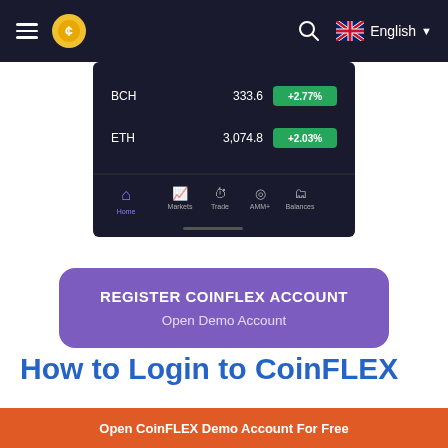English
[Figure (screenshot): CoinFLEX mobile app screenshot showing BCH 333.6 +2.77% and ETH 3,074.8 +2.03% with bottom navigation tabs: Home, Markets, Trade, AMM+, Balances]
REGISTER COINFLEX ACCOUNT
Open Demo Account
How to Login to CoinFLEX
Open CoinFLEX Demo Account For Free